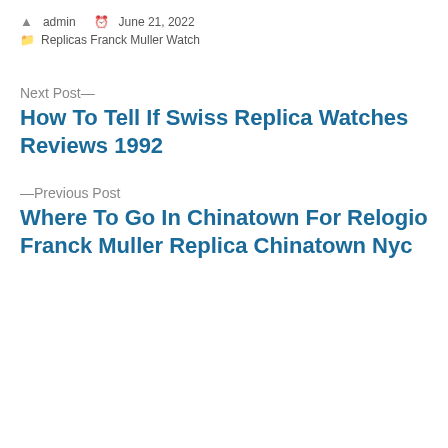admin   June 21, 2022
Replicas Franck Muller Watch
Next Post—
How To Tell If Swiss Replica Watches Reviews 1992
—Previous Post
Where To Go In Chinatown For Relogio Franck Muller Replica Chinatown Nyc